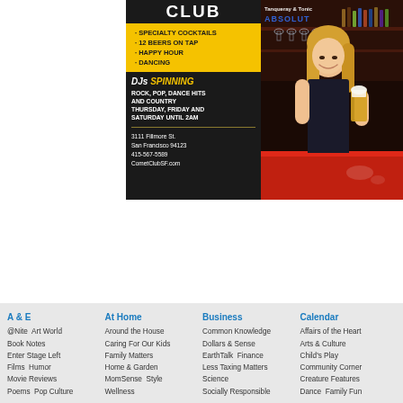[Figure (photo): Advertisement for Comet Club SF showing a smiling woman holding a beer at a bar, with yellow and dark sections listing specialty cocktails, 12 beers on tap, happy hour, dancing, DJs spinning rock, pop, dance hits and country Thursday Friday and Saturday until 2am. Address: 3111 Fillmore St, San Francisco 94123, 415-567-5589, CometClubSF.com]
@Nite  Art World
Book Notes
Enter Stage Left
Films  Humor
Movie Reviews
Poems  Pop Culture
Around the House
Caring For Our Kids
Family Matters
Home & Garden
MomSense  Style
Wellness
Common Knowledge
Dollars & Sense
EarthTalk  Finance
Less Taxing Matters
Science
Socially Responsible
Affairs of the Heart
Arts & Culture
Child's Play
Community Corner
Creature Features
Dance  Family Fun